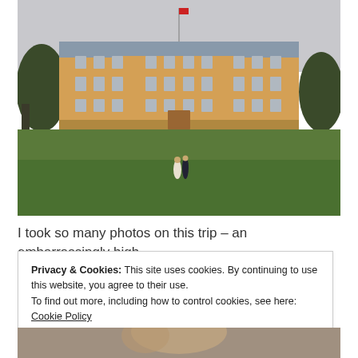[Figure (photo): A large baroque-style palace (yellow/ochre facade) with multiple windows and a flag on top, photographed from its grassy lawn. A couple stands in the foreground on the lawn, tiny against the grand building. Trees flank both sides. Overcast sky.]
I took so many photos on this trip – an embarrassingly high
Privacy & Cookies: This site uses cookies. By continuing to use this website, you agree to their use.
To find out more, including how to control cookies, see here: Cookie Policy
Close and accept
[Figure (photo): Partial bottom strip of another photo, likely a person or scene, cropped at the page edge.]